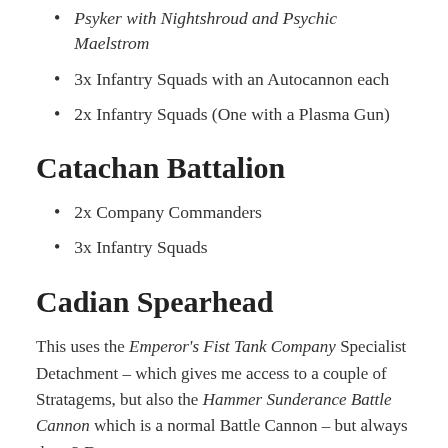Psyker with Nightshroud and Psychic Maelstrom
3x Infantry Squads with an Autocannon each
2x Infantry Squads (One with a Plasma Gun)
Catachan Battalion
2x Company Commanders
3x Infantry Squads
Cadian Spearhead
This uses the Emperor's Fist Tank Company Specialist Detachment – which gives me access to a couple of Stratagems, but also the Hammer Sunderance Battle Cannon which is a normal Battle Cannon – but always does 3 Damage